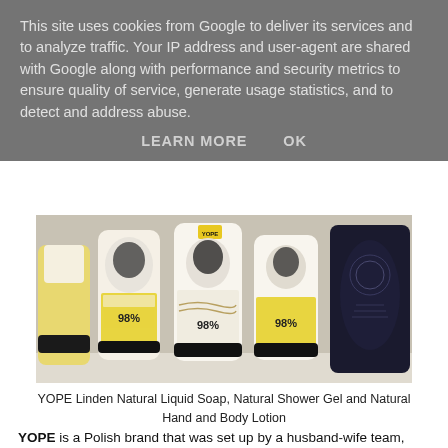This site uses cookies from Google to deliver its services and to analyze traffic. Your IP address and user-agent are shared with Google along with performance and security metrics to ensure quality of service, generate usage statistics, and to detect and address abuse.
LEARN MORE    OK
[Figure (photo): Photo of three YOPE Linden product bottles (Natural Liquid Soap, Natural Shower Gel, Natural Moisturising Hand and Body Lotion) with yellow labels featuring wolf/animal illustrations, all showing '98%' natural ingredients, plus a dark decorative bottle on the right.]
YOPE Linden Natural Liquid Soap, Natural Shower Gel and Natural Hand and Body Lotion
YOPE is a Polish brand that was set up by a husband-wife team,